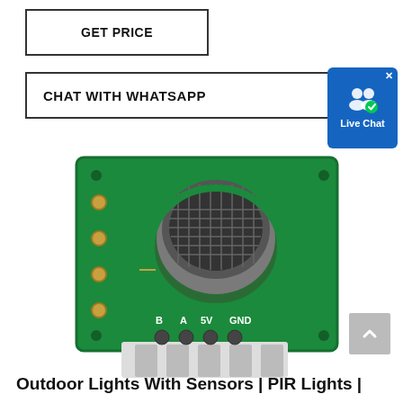[Figure (screenshot): GET PRICE button with black border]
[Figure (screenshot): CHAT WITH WHATSAPP button with black border]
[Figure (screenshot): Live Chat widget in blue with user icons]
[Figure (photo): Green PCB sensor module (MQ gas sensor / M206-V1.1) with cylindrical metal cap sensor, four pins labeled B A 5V GND, and white connector base]
[Figure (screenshot): Back to top arrow button in grey]
Outdoor Lights With Sensors | PIR Lights |